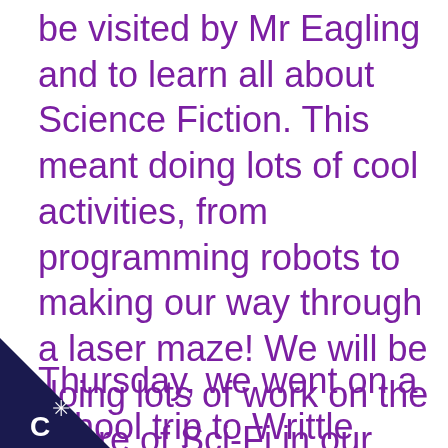be visited by Mr Eagling and to learn all about Science Fiction. This meant doing lots of cool activities, from programming robots to making our way through a laser maze! We will be doing lots of work on the genre of Sci-Fi in our lessons for the next few weeks.
Thursday, we went on a school trip to Writtle College farming day which lots of fun and also taught us
[Figure (logo): Dark navy triangle in bottom-left corner with a white star/asterisk and letter C logo]